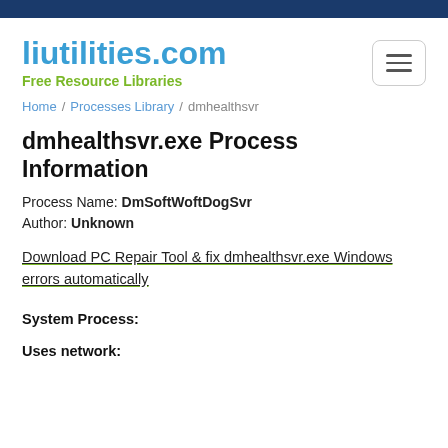liutilities.com
Free Resource Libraries
Home / Processes Library / dmhealthsvr
dmhealthsvr.exe Process Information
Process Name: DmSoftWoftDogSvr
Author: Unknown
Download PC Repair Tool & fix dmhealthsvr.exe Windows errors automatically
System Process:
Uses network: